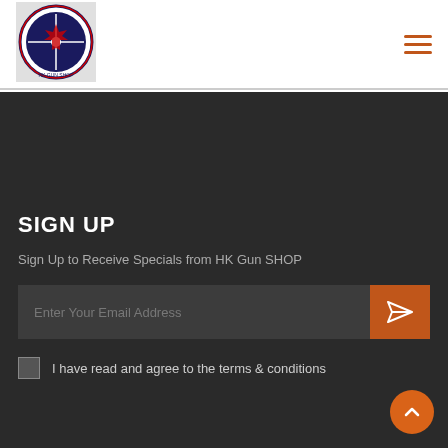[Figure (logo): HK Gun Shop circular logo with compass/crosshair design on white background]
[Figure (other): Hamburger menu icon — three horizontal orange lines]
SIGN UP
Sign Up to Receive Specials from HK Gun SHOP
[Figure (other): Email input field with placeholder 'Enter Your Email Address' and orange send button with paper-plane icon]
I have read and agree to the terms & conditions
[Figure (other): Orange circular scroll-to-top button with upward chevron arrow]